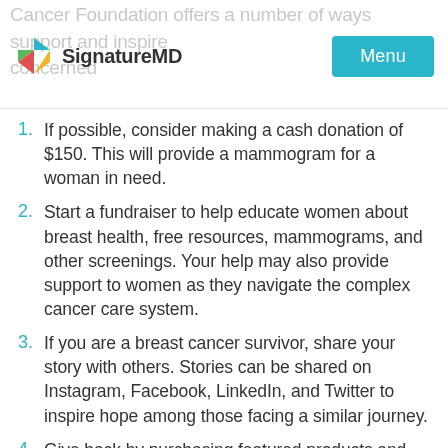SignatureMD | Menu
If possible, consider making a cash donation of $150. This will provide a mammogram for a woman in need.
Start a fundraiser to help educate women about breast health, free resources, mammograms, and other screenings. Your help may also provide support to women as they navigate the complex cancer care system.
If you are a breast cancer survivor, share your story with others. Stories can be shared on Instagram, Facebook, LinkedIn, and Twitter to inspire hope among those facing a similar journey.
Give back by purchasing featured products and merchandise, such as a HOPE Kit or